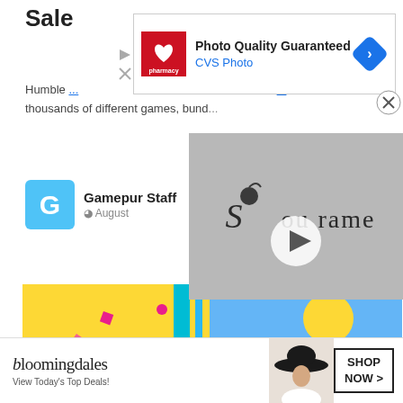Sale
Humble ... thousands of different games, bund...
[Figure (logo): Gamepur Staff author with logo icon and date August]
[Figure (photo): Humble Summer Sale promotional banner. Text reads: Humble SUMMER SALE. SALE ENDS SEPT 6 AT 10 AM PACIFIC. Colorful illustration with luggage, airplane, travel theme.]
Humble is running its annual summer sale to cap off Summer... ands
[Figure (screenshot): CVS Photo advertisement overlay: Photo Quality Guaranteed CVS Photo with CVS pharmacy logo and blue diamond arrow icon]
[Figure (screenshot): Soulframe overlay image showing gothic text Soulframe on gray textured background with play button]
[Figure (screenshot): Bloomingdales advertisement: bloomingdales View Today's Top Deals! with woman in hat and SHOP NOW > button]